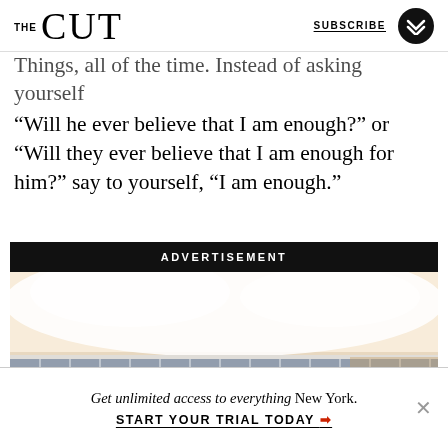THE CUT | SUBSCRIBE
Things, all of the time. Instead of asking yourself “Will he ever believe that I am enough?” or “Will they ever believe that I am enough for him?” say to yourself, “I am enough.”
[Figure (photo): Advertisement banner showing a luxury mattress with plaid fabric border and white bedding on top, with the label ADVERTISEMENT in white text on black bar.]
Get unlimited access to everything New York.
START YOUR TRIAL TODAY ➡️